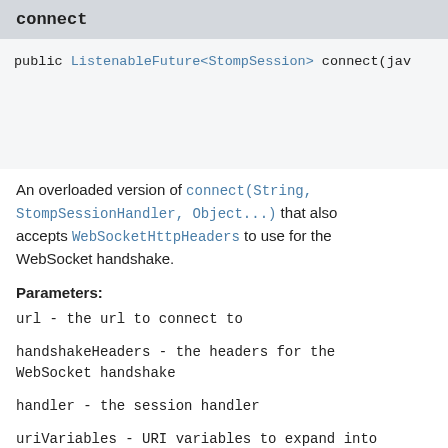connect
public ListenableFuture<StompSession> connect(java... @Nu... Web... Sto... ja...
An overloaded version of connect(String, StompSessionHandler, Object...) that also accepts WebSocketHttpHeaders to use for the WebSocket handshake.
Parameters:
url - the url to connect to
handshakeHeaders - the headers for the WebSocket handshake
handler - the session handler
uriVariables - URI variables to expand into the URL
Returns: